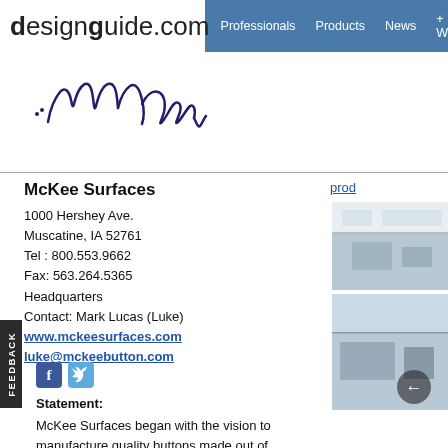designguide.com — Professionals | Products | News | +W
[Figure (logo): McKee cursive/script logo in dark navy ink]
McKee Surfaces
1000 Hershey Ave.
Muscatine, IA 52761
Tel : 800.553.9662
Fax: 563.264.5365
Headquarters
Contact: Mark Lucas (Luke)
www.mckeesurfaces.com
luke@mckeebutton.com
[Figure (photo): Photo of interior ceiling/office space]
[Figure (photo): Photo of office interior with navigation arrow overlay]
Statement:
McKee Surfaces began with the vision to manufacture quality buttons made out of clamshells. The company started business in 1895 as McKee Button Company, and by the turn of the century, it was the largest manufacturer of pearl buttons in the world. In the 1950's, the company evolved, along with the apparel industry, by changing from pearl to polyester as the preferred